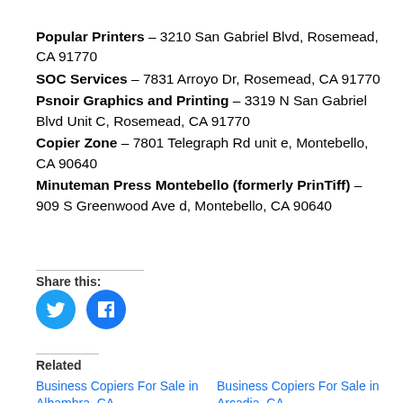Popular Printers – 3210 San Gabriel Blvd, Rosemead, CA 91770
SOC Services – 7831 Arroyo Dr, Rosemead, CA 91770
Psnoir Graphics and Printing – 3319 N San Gabriel Blvd Unit C, Rosemead, CA 91770
Copier Zone – 7801 Telegraph Rd unit e, Montebello, CA 90640
Minuteman Press Montebello (formerly PrinTiff) – 909 S Greenwood Ave d, Montebello, CA 90640
Share this:
[Figure (other): Twitter and Facebook share buttons (circular blue icons)]
Related
Business Copiers For Sale in Alhambra, CA
Business Copiers For Sale in Arcadia, CA